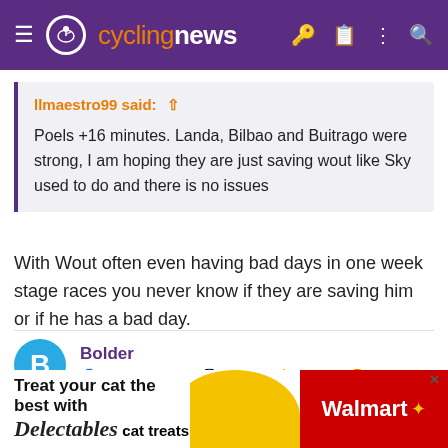cyclingnews
Ilmaestro99 said: ↑

Poels +16 minutes. Landa, Bilbao and Buitrago were strong, I am hoping they are just saving wout like Sky used to do and there is no issues
With Wout often even having bad days in one week stage races you never know if they are saving him or if he has a bad day.
Bolder
Jun 25, 2015  3,478  2,252  16,680
[Figure (screenshot): Ad banner: Treat your cat the best with Delectables cat treats - Walmart]